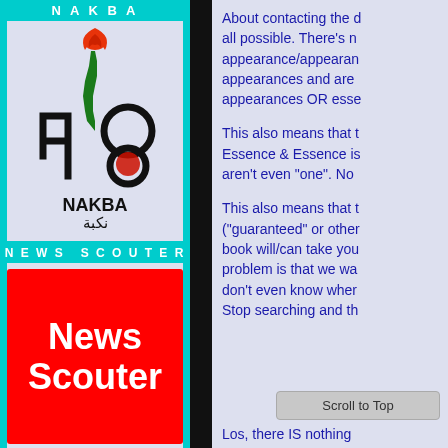NAKBA
[Figure (logo): Nakba 48 logo with flame, Palestinian map in green, and Arabic/English text 'NAKBA نكبة']
NEWS SCOUTER
[Figure (logo): News Scouter logo: red background with white bold text 'News Scouter']
About contacting the d all possible. There's n appearance/appearan appearances and are appearances OR esse
This also means that t Essence & Essence is aren't even "one". No
This also means that t ("guaranteed" or other book will/can take you problem is that we wa don't even know wher Stop searching and th
Scroll to Top
Los, there IS nothing